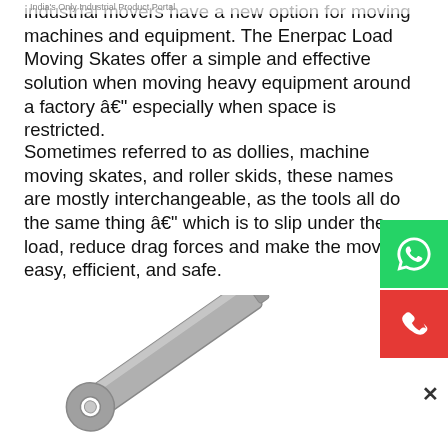India's Only Industrial Product Portal
industrial movers have a new option for moving machines and equipment. The Enerpac Load Moving Skates offer a simple and effective solution when moving heavy equipment around a factory â€" especially when space is restricted.
Sometimes referred to as dollies, machine moving skates, and roller skids, these names are mostly interchangeable, as the tools all do the same thing â€" which is to slip under the load, reduce drag forces and make the move easy, efficient, and safe.
[Figure (photo): A gray metal load moving skate tool shown at an angle, resembling a long flat bar with a round hole at one end.]